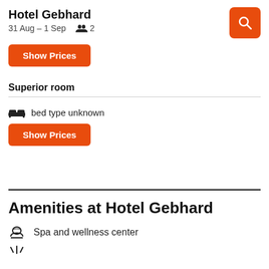Hotel Gebhard — 31 Aug – 1 Sep — 2 guests
Show Prices
Superior room
bed type unknown
Show Prices
Amenities at Hotel Gebhard
Spa and wellness center